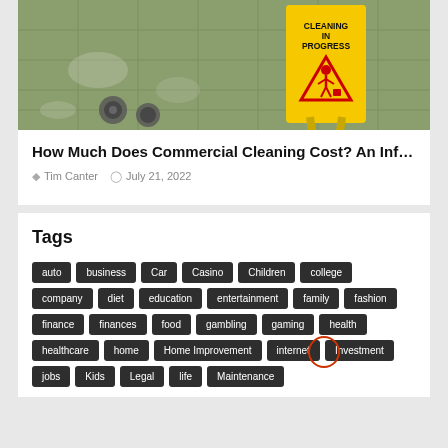[Figure (photo): Photo of a commercial floor being cleaned with a yellow 'Cleaning In Progress' caution sign visible on the right side. The floor appears to be wet with cleaning equipment visible.]
How Much Does Commercial Cleaning Cost? An Inf…
Tim Canter  July 21, 2022
Tags
auto
business
Car
Casino
Children
college
company
diet
education
entertainment
family
fashion
finance
finances
food
gambling
gaming
health
healthcare
home
Home Improvement
internet
Investment
jobs
Kids
Legal
life
Maintenance